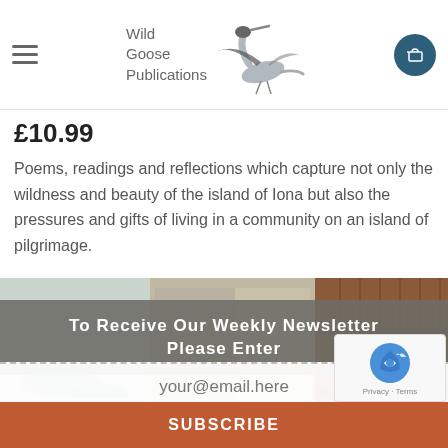Wild Goose Publications
£10.99
Poems, readings and reflections which capture not only the wildness and beauty of the island of Iona but also the pressures and gifts of living in a community on an island of pilgrimage.
[Figure (photo): Background photo strip showing coastal/outdoor scenes]
To Receive Our Weekly Newsletter Please Enter
your@email.here
SUBSCRIBE